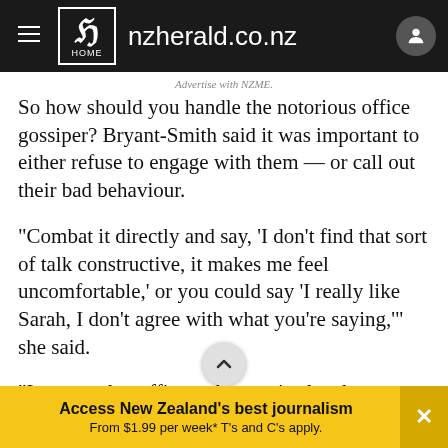[Figure (screenshot): NZ Herald website navigation bar with hamburger menu, Herald logo, nzherald.co.nz site name, and user account icon]
Advertise with NZME.
So how should you handle the notorious office gossiper? Bryant-Smith said it was important to either refuse to engage with them — or call out their bad behaviour.
"Combat it directly and say, 'I don't find that sort of talk constructive, it makes me feel uncomfortable,' or you could say 'I really like Sarah, I don't agree with what you're saying,'" she said.
"In open-plan offices where noise levels are an issue and it's harder to step away when someone is gossiping
Access New Zealand's best journalism
From $1.99 per week* T's and C's apply.